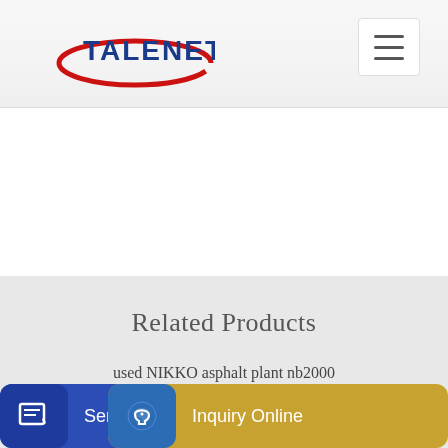[Figure (logo): Talenet company logo with red swoosh and blue text TALENET]
[Figure (other): Hamburger menu button (three horizontal lines) in white rounded square]
Related Products
used NIKKO asphalt plant nb2000
news from the concrete mixer producer
[Figure (other): Send Message button with edit icon on blue background]
Conc
[Figure (other): Inquiry Online button with headset icon on gold background]